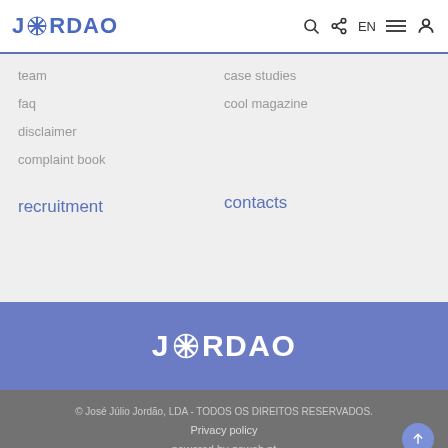JORDAO — EN
team
case studies
faq
cool magazine
disclaimer
complaint book
recruitment
contacts
[Figure (logo): JORDAO logo in white on blue background]
© José Júlio Jordão, LDA - TODOS OS DIREITOS RESERVADOS. Privacy policy powered by goweb.pt